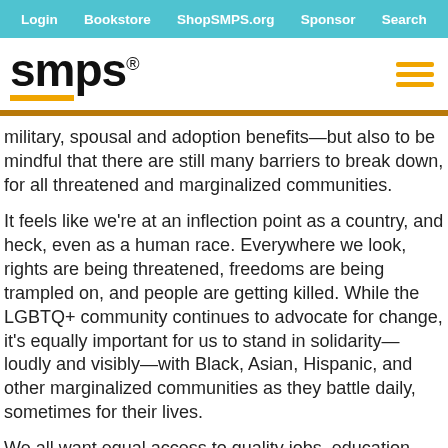Login  Bookstore  ShopSMPS.org  Sponsor  Search
[Figure (logo): smps logo with orange underline and hamburger menu icon]
military, spousal and adoption benefits—but also to be mindful that there are still many barriers to break down, for all threatened and marginalized communities.
It feels like we're at an inflection point as a country, and heck, even as a human race. Everywhere we look, rights are being threatened, freedoms are being trampled on, and people are getting killed. While the LGBTQ+ community continues to advocate for change, it's equally important for us to stand in solidarity—loudly and visibly—with Black, Asian, Hispanic, and other marginalized communities as they battle daily, sometimes for their lives.
We all want equal access to quality jobs, education, housing, and health care. Those are big dreams. But right now, I think many people would settle for safety. Transgender men and women are being treated brutally in almost every community. The fundamental rights of women are under attack, and the